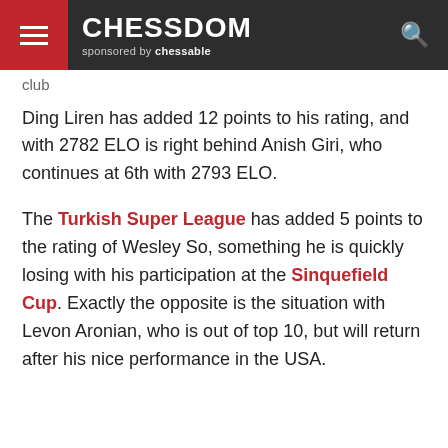CHESSDOM sponsored by chessable
club
Ding Liren has added 12 points to his rating, and with 2782 ELO is right behind Anish Giri, who continues at 6th with 2793 ELO.
The Turkish Super League has added 5 points to the rating of Wesley So, something he is quickly losing with his participation at the Sinquefield Cup. Exactly the opposite is the situation with Levon Aronian, who is out of top 10, but will return after his nice performance in the USA.